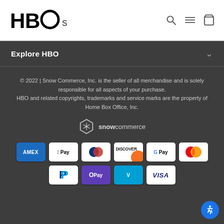HBO SHOP
Explore HBO
© 2022 | Snow Commerce, Inc. is the seller of all merchandise and is solely responsible for all aspects of your purchase. HBO and related copyrights, trademarks and service marks are the property of Home Box Office, Inc.
[Figure (logo): Snow Commerce logo with hexagonal snowflake icon and text 'snowcommerce']
[Figure (infographic): Payment method icons: American Express (AMEX), Apple Pay, Diners Club, Discover, Google Pay, Mastercard, PayPal, OPay, Venmo, Visa]